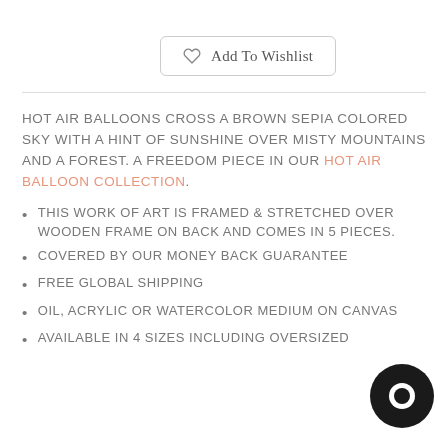Add To Wishlist
HOT AIR BALLOONS CROSS A BROWN SEPIA COLORED SKY WITH A HINT OF SUNSHINE OVER MISTY MOUNTAINS AND A FOREST. A FREEDOM PIECE IN OUR HOT AIR BALLOON COLLECTION.
THIS WORK OF ART IS FRAMED & STRETCHED OVER WOODEN FRAME ON BACK AND COMES IN 5 PIECES.
COVERED BY OUR MONEY BACK GUARANTEE
FREE GLOBAL SHIPPING
OIL, ACRYLIC OR WATERCOLOR MEDIUM ON CANVAS
AVAILABLE IN 4 SIZES INCLUDING OVERSIZED